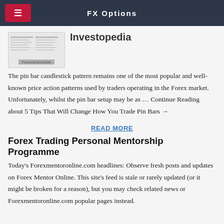FX Options
[Figure (screenshot): Thumbnail image showing a trading chart or table screenshot with Forexmentoronline branding]
Investopedia
The pin bar candlestick pattern remains one of the most popular and well-known price action patterns used by traders operating in the Forex market. Unfortunately, whilst the pin bar setup may be as ... Continue Reading about 5 Tips That Will Change How You Trade Pin Bars →
READ MORE
Forex Trading Personal Mentorship Programme
Today's Forexmentoronline.com headlines: Observe fresh posts and updates on Forex Mentor Online. This site's feed is stale or rarely updated (or it might be broken for a reason), but you may check related news or Forexmentoronline.com popular pages instead.